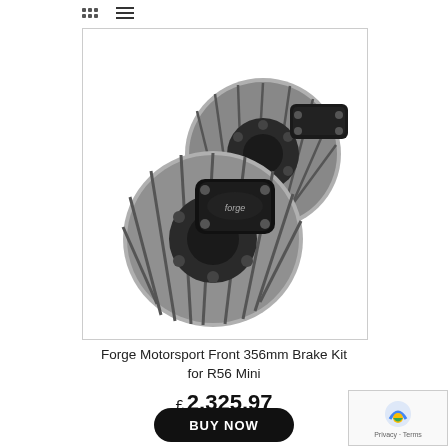[grid icon] [hamburger menu icon]
[Figure (photo): Two black Forge Motorsport 356mm slotted brake discs with black multi-piston calipers branded 'forge', shown on white background in a bordered product image box.]
Forge Motorsport Front 356mm Brake Kit for R56 Mini
£ 2,325.97
BUY NOW